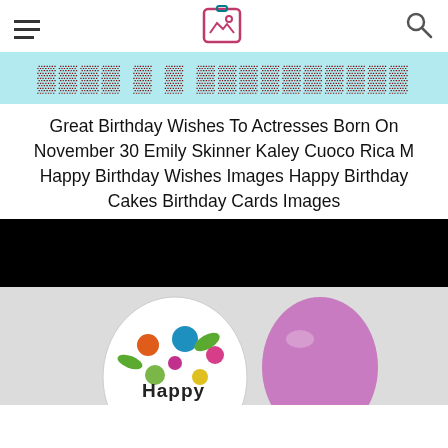[hamburger menu] [logo icon] [search icon]
[Figure (screenshot): Partially visible banner with light blue background and large bold dark red decorative text, cropped at top]
Great Birthday Wishes To Actresses Born On November 30 Emily Skinner Kaley Cuoco Rica M Happy Birthday Wishes Images Happy Birthday Cakes Birthday Cards Images
[Figure (photo): Photo section: top portion shows a solid black bar, bottom portion shows a light gray background with a colorful polka-dot balloon with 'Happy' text and a purple balloon beside it]